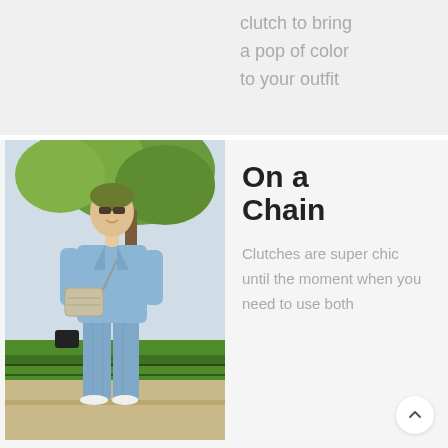clutch to bring a pop of color to your outfit
[Figure (photo): Street style photo of a woman wearing a blue linen suit with a cross-body bag and white sneakers, standing outdoors near green grass and trees.]
On a Chain
Clutches are super chic until the moment when you need to use both